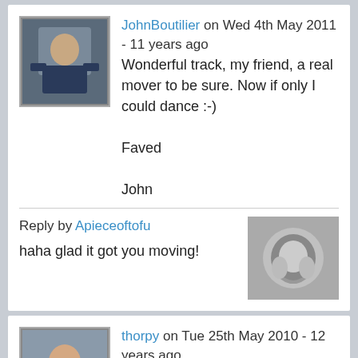JohnBoutilier on Wed 4th May 2011 - 11 years ago
Wonderful track, my friend, a real mover to be sure. Now if only I could dance :-)
Faved
John
Reply by Apieceoftofu
haha glad it got you moving!
thorpy on Tue 25th May 2010 - 12 years ago
you got some skills mate. you really worked the acapella in nicely which is sumthin that is not easy to pull of. great work
thorpy